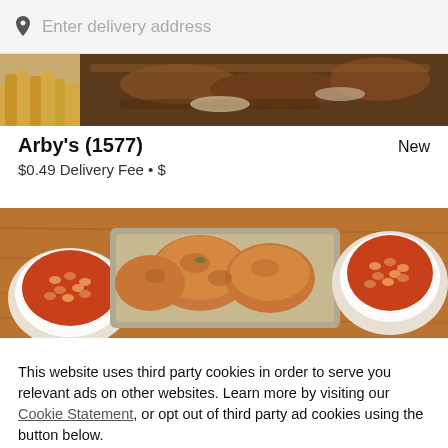Enter delivery address
[Figure (photo): Partially cropped food photo showing curly fries and a meat sandwich/sub from top, cropped at top of view]
Arby's (1577)
New
$0.49 Delivery Fee • $
[Figure (photo): Food photo showing baked beans in bowls and fried chicken pieces on a metal tray on a wooden table]
This website uses third party cookies in order to serve you relevant ads on other websites. Learn more by visiting our Cookie Statement, or opt out of third party ad cookies using the button below.
OPT OUT
GOT IT